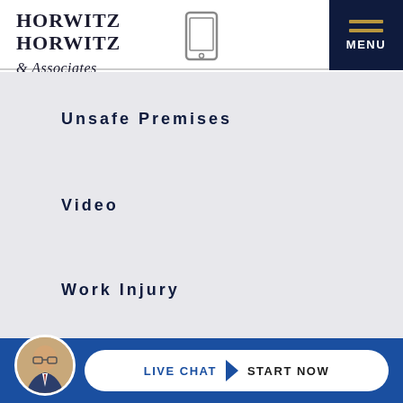[Figure (logo): Horwitz Horwitz & Associates law firm logo with serif bold text]
[Figure (illustration): Mobile phone icon outline]
[Figure (illustration): Navy MENU button with gold hamburger lines]
Unsafe Premises
Video
Work Injury
Workers' Compensation
[Figure (photo): Circular avatar photo of a man in suit and glasses]
LIVE CHAT  START NOW